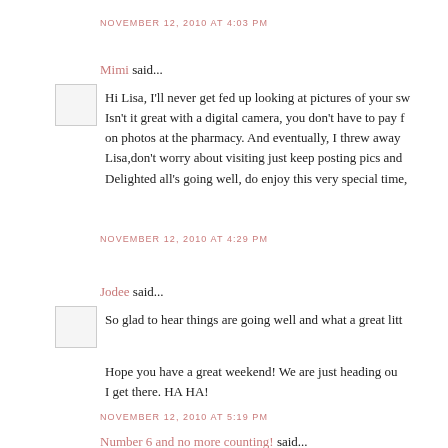NOVEMBER 12, 2010 AT 4:03 PM
Mimi said...
Hi Lisa, I'll never get fed up looking at pictures of your sw... Isn't it great with a digital camera, you don't have to pay f... on photos at the pharmacy. And eventually, I threw away... Lisa,don't worry about visiting just keep posting pics and... Delighted all's going well, do enjoy this very special time,
NOVEMBER 12, 2010 AT 4:29 PM
Jodee said...
So glad to hear things are going well and what a great litt...
Hope you have a great weekend! We are just heading ou... I get there. HA HA!
NOVEMBER 12, 2010 AT 5:19 PM
Number 6 and no more counting! said...